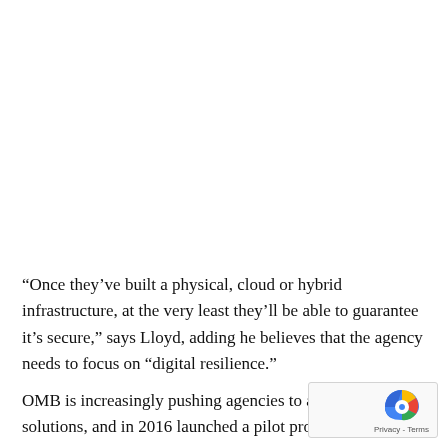“Once they’ve built a physical, cloud or hybrid infrastructure, at the very least they’ll be able to guarantee it’s secure,” says Lloyd, adding he believes that the agency needs to focus on “digital resilience.”
OMB is increasingly pushing agencies to adopt open solutions, and in 2016 launched a pilot project requiring a…